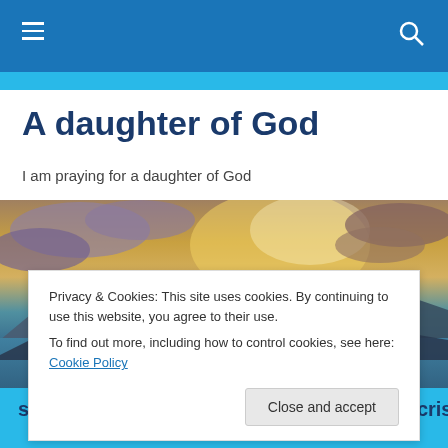Navigation bar with hamburger menu and search icon
A daughter of God
I am praying for a daughter of God
[Figure (photo): Dramatic landscape photo of a coastal scene at sunset/sunrise with colorful clouds (orange, yellow, purple) over mountains and water]
Privacy & Cookies: This site uses cookies. By continuing to use this website, you agree to their use.
To find out more, including how to control cookies, see here: Cookie Policy
[Close and accept button]
sunshine this morning. Thank you for the crisp cool